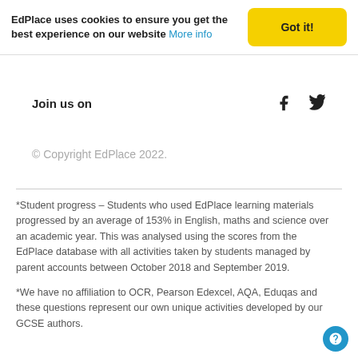EdPlace uses cookies to ensure you get the best experience on our website More info
Join us on
© Copyright EdPlace 2022.
*Student progress – Students who used EdPlace learning materials progressed by an average of 153% in English, maths and science over an academic year. This was analysed using the scores from the EdPlace database with all activities taken by students managed by parent accounts between October 2018 and September 2019.
*We have no affiliation to OCR, Pearson Edexcel, AQA, Eduqas and these questions represent our own unique activities developed by our GCSE authors.